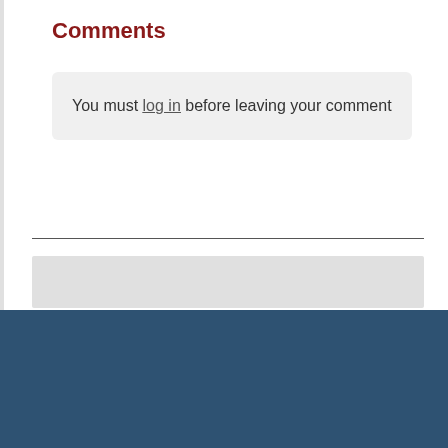Comments
You must log in before leaving your comment
Flood Information
Election Information
Employment